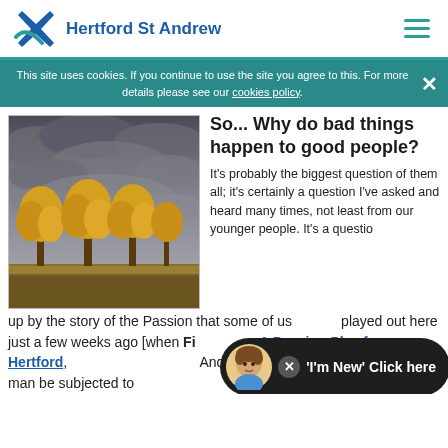Hertford St Andrew
This site uses cookies. If you continue to use the site you agree to this. For more details please see our cookies policy.
[Figure (photo): Yellow autumn trees against dramatic stormy grey sky with flat landscape]
So... Why do bad things happen to good people?
It’s probably the biggest question of them all; it’s certainly a question I’ve asked and heard many times, not least from our younger people. It’s a question thrown up by the story of the Passion that some of us played out here just a few weeks ago [when First Light, A Passion Play for Hertford, was performed at St Andrew’s]. How could such a good man be subjected to
[Figure (illustration): Chat widget with cartoon avatar and 'I'm New' Click here button]